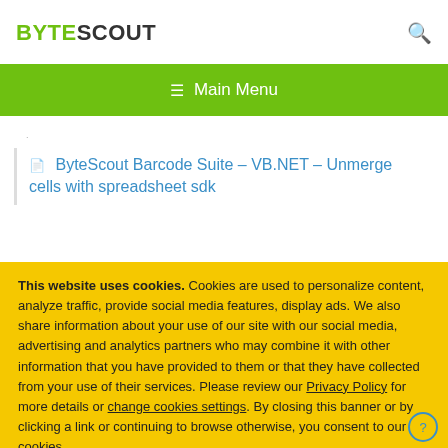BYTESCOUT
≡  Main Menu
ByteScout Barcode Suite – VB.NET – Unmerge cells with spreadsheet sdk
This website uses cookies. Cookies are used to personalize content, analyze traffic, provide social media features, display ads. We also share information about your use of our site with our social media, advertising and analytics partners who may combine it with other information that you have provided to them or that they have collected from your use of their services. Please review our Privacy Policy for more details or change cookies settings. By closing this banner or by clicking a link or continuing to browse otherwise, you consent to our cookies.
OK